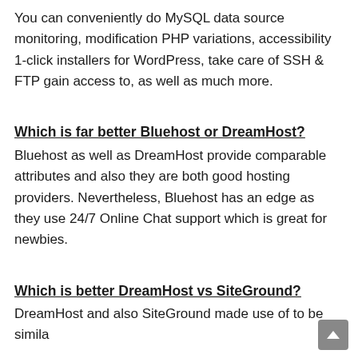You can conveniently do MySQL data source monitoring, modification PHP variations, accessibility 1-click installers for WordPress, take care of SSH & FTP gain access to, as well as much more.
Which is far better Bluehost or DreamHost?
Bluehost as well as DreamHost provide comparable attributes and also they are both good hosting providers. Nevertheless, Bluehost has an edge as they use 24/7 Online Chat support which is great for newbies.
Which is better DreamHost vs SiteGround?
DreamHost and also SiteGround made use of to be simila